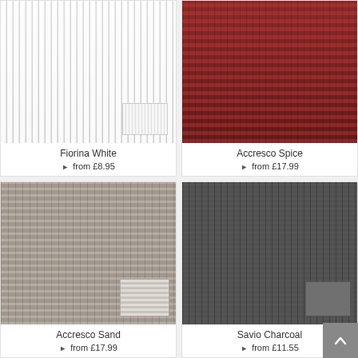[Figure (photo): Fiorina White vertical blinds in a room setting with fabric swatch]
Fiorina White
▶ from £8.95
[Figure (photo): Accresco Spice vertical blinds in a room setting with red/orange floral fabric]
Accresco Spice
▶ from £17.99
[Figure (photo): Accresco Sand vertical blinds in a room setting with grey/beige textured fabric swatch]
Accresco Sand
▶ from £17.99
[Figure (photo): Savio Charcoal vertical blinds in a room setting with dark grey fabric swatch]
Savio Charcoal
▶ from £11.55